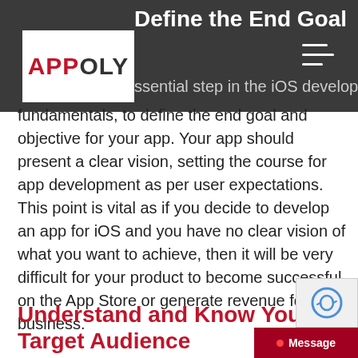Define the End Goal
[Figure (logo): APPOLY logo — white box with red APP and grey OLY text]
...essential step in the iOS developer fundamentals, to define the end goal and objective for your app. Your app should present a clear vision, setting the course for app development as per user expectations. This point is vital as if you decide to develop an app for iOS and you have no clear vision of what you want to achieve, then it will be very difficult for your product to become successful on the App Store or generate revenue for your business.
Understand and Know Your Target Audience